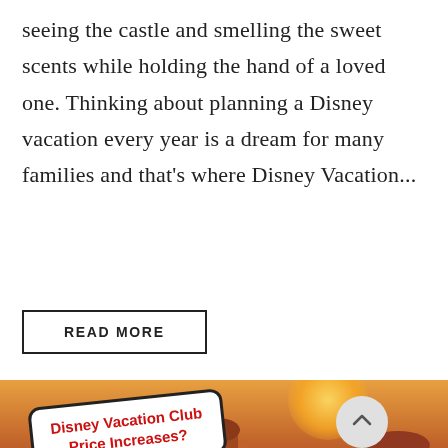seeing the castle and smelling the sweet scents while holding the hand of a loved one. Thinking about planning a Disney vacation every year is a dream for many families and that's where Disney Vacation...
READ MORE
[Figure (photo): Photo of a Disney resort (Animal Kingdom Lodge style) at sunset with warm orange sky. A white badge overlay reads 'Disney Vacation Club Price Increases?' in red bold text. A scroll-up arrow button and a blue chat button appear on the right side.]